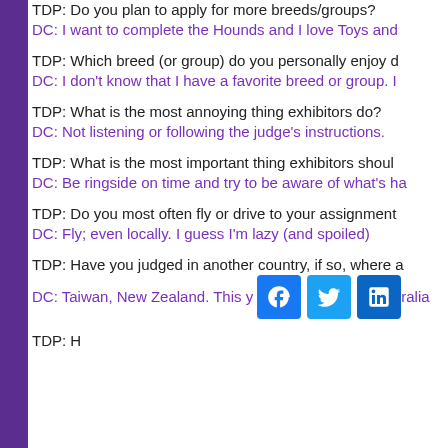TDP: Do you plan to apply for more breeds/groups?
DC: I want to complete the Hounds and I love Toys and
TDP: Which breed (or group) do you personally enjoy d
DC: I don’t know that I have a favorite breed or group. I
TDP: What is the most annoying thing exhibitors do?
DC: Not listening or following the judge’s instructions.
TDP: What is the most important thing exhibitors shoul
DC: Be ringside on time and try to be aware of what’s ha
TDP: Do you most often fly or drive to your assignment
DC: Fly; even locally. I guess I’m lazy (and spoiled)
TDP: Have you judged in another country, if so, where a
DC: Taiwan, New Zealand. This y ralia
TDP: H